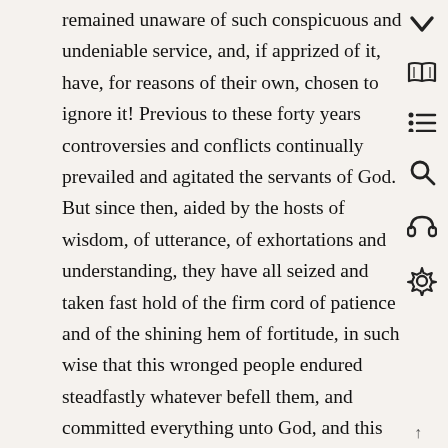remained unaware of such conspicuous and undeniable service, and, if apprized of it, have, for reasons of their own, chosen to ignore it! Previous to these forty years controversies and conflicts continually prevailed and agitated the servants of God. But since then, aided by the hosts of wisdom, of utterance, of exhortations and understanding, they have all seized and taken fast hold of the firm cord of patience and of the shining hem of fortitude, in such wise that this wronged people endured steadfastly whatever befell them, and committed everything unto God, and this notwithstanding that in Mazindaran and at Ra_sh_t a great many have been most hideously tormented. Among them was his honor, Haji Nasir, who
↑